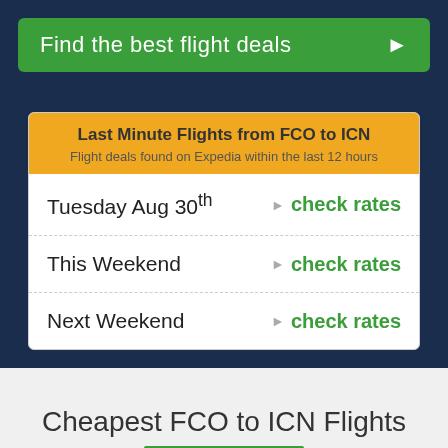[Figure (screenshot): Green button with text 'Find the best flight deals' and a right-pointing arrow on dark navy background]
Last Minute Flights from FCO to ICN
Flight deals found on Expedia within the last 12 hours
Tuesday Aug 30th — check rates
This Weekend — check rates
Next Weekend — check rates
Cheapest FCO to ICN Flights